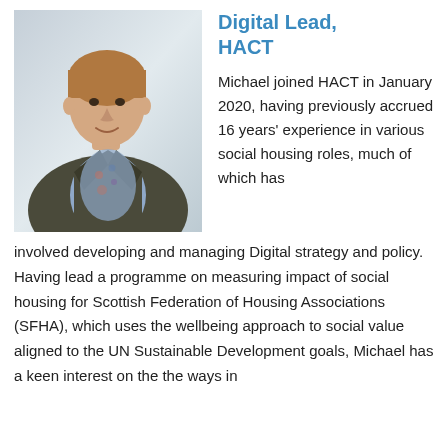[Figure (photo): Portrait photo of a young man with short brown hair, wearing a dark blazer over a patterned shirt, smiling at the camera against a light background.]
Digital Lead, HACT
Michael joined HACT in January 2020, having previously accrued 16 years' experience in various social housing roles, much of which has involved developing and managing Digital strategy and policy.  Having lead a programme on measuring impact of social housing for Scottish Federation of Housing Associations (SFHA), which uses the wellbeing approach to social value aligned to the UN Sustainable Development goals, Michael has a keen interest on the the ways in